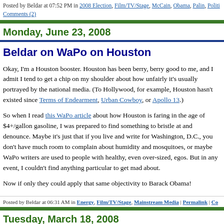Posted by Beldar at 07:52 PM in 2008 Election, Film/TV/Stage, McCain, Obama, Palin, Politi... Comments (2)
Monday, June 23, 2008
Beldar on WaPo on Houston
Okay, I'm a Houston booster. Houston has been berry, berry good to me, and I admit I tend to get a chip on my shoulder about how unfairly it's usually portrayed by the national media. (To Hollywood, for example, Houston hasn't existed since Terms of Endearment, Urban Cowboy, or Apollo 13.)
So when I read this WaPo article about how Houston is faring in the age of $4+/gallon gasoline, I was prepared to find something to bristle at and denounce. Maybe it's just that if you live and write for Washington, D.C., you don't have much room to complain about humidity and mosquitoes, or maybe WaPo writers are used to people with healthy, even over-sized, egos. But in any event, I couldn't find anything particular to get mad about.
Now if only they could apply that same objectivity to Barack Obama!
Posted by Beldar at 06:31 AM in Energy, Film/TV/Stage, Mainstream Media | Permalink | Co...
Tuesday, March 18, 2008
Review: Beldar's watching, and highly recommenc... Adams"